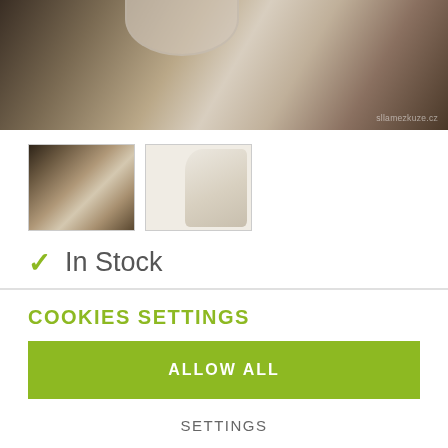[Figure (photo): Main product photo showing rolled leather/felt material with a bucket shape at top, dark background. Watermark reads 'sllamezkuze.cz']
[Figure (photo): Thumbnail 1: rolled/stacked leather or felt sheets on dark background]
[Figure (photo): Thumbnail 2: folded white/cream leather or felt material]
✓ In Stock
COOKIES SETTINGS
ALLOW ALL
SETTINGS
REJECT ALL